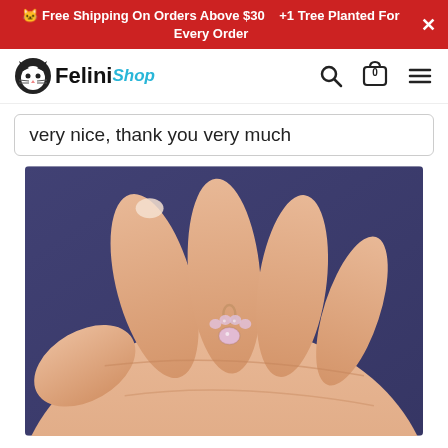🐱 Free Shipping On Orders Above $30   +1 Tree Planted For Every Order
[Figure (logo): FeliniShop logo with cat face icon and teal Shop text]
very nice, thank you very much
[Figure (photo): A hand holding a small rose gold crystal cat paw pendant/charm with rhinestones, against a purple fabric background]